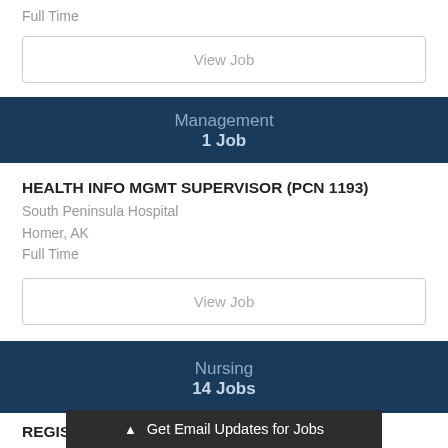Full Time
View Job
Management
1 Job
HEALTH INFO MGMT SUPERVISOR (PCN 1193)
South Peninsula Hospital
Homer, AK
Full Time
View Job
Nursing
14 Jobs
REGISTER
▲ Get Email Updates for Jobs